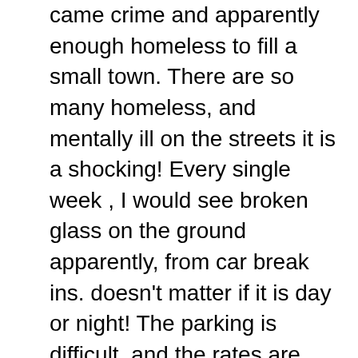came crime and apparently enough homeless to fill a small town. There are so many homeless, and mentally ill on the streets it is a shocking! Every single week , I would see broken glass on the ground apparently, from car break ins. doesn't matter if it is day or night! The parking is difficult, and the rates are outrageous a quarter buys you seven minutes on the meter, but parking is free after 7pm after the happy hour and dinner crowd leaves the city if that makes any sense it at all?. At night, the Pearl is younger louder party crowd emerges. We were in a very nice high-rise condo which has a big homeless village 1/2 block away that are burning wood in the late night to stay warm and you can smell the fumes and then throw in the crime, and super bad air quality and the noise level and place start losing points fast. Why pay a premium price to live or even stay in a place like this? The Pearl is great place to visit . Now remember to bring you wallet and make sure it is full because Portland is expensive! Be sure to check out the breweries. We liked Fat Head's